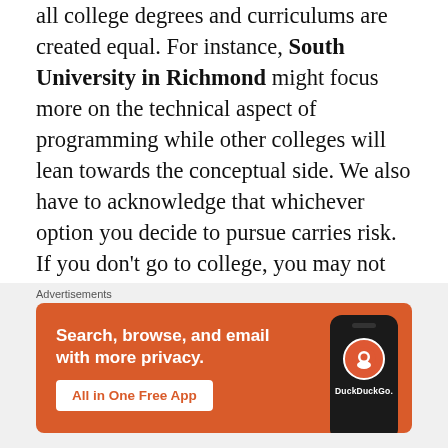all college degrees and curriculums are created equal. For instance, South University in Richmond might focus more on the technical aspect of programming while other colleges will lean towards the conceptual side. We also have to acknowledge that whichever option you decide to pursue carries risk. If you don't go to college, you may not get a job when compared to someone who has gone to college. If you do go to college, you may have to start making as much as someone who just graduated from high school. In both cases there
[Figure (other): DuckDuckGo advertisement banner with orange background showing: 'Search, browse, and email with more privacy.' with 'All in One Free App' button and DuckDuckGo logo on a phone mockup]